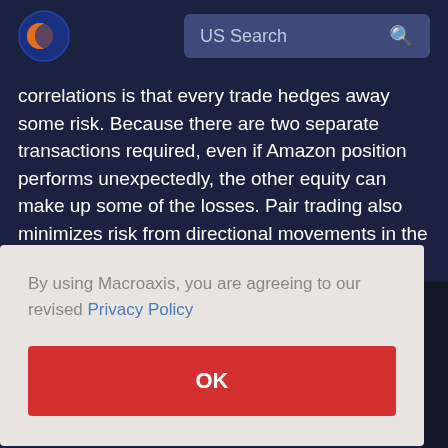US Search
correlations is that every trade hedges away some risk. Because there are two separate transactions required, even if Amazon position performs unexpectedly, the other equity can make up some of the losses. Pair trading also minimizes risk from directional movements in the market. For example, if an entire industry or sector drops because
on will
By using Macroaxis, you are agreeing to our revised Privacy Policy
OK